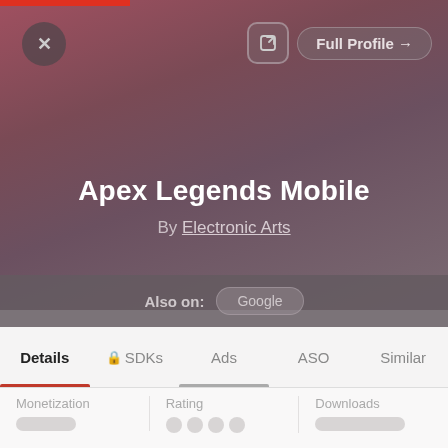[Figure (screenshot): App profile card UI screenshot for Apex Legends Mobile by Electronic Arts, showing hero image area with close button, Full Profile button, Also on: Google pill, navigation tabs (Details, SDKs, Ads, ASO, Similar), and bottom cards for Monetization, Rating, Downloads]
Apex Legends Mobile
By Electronic Arts
Also on: Google
Details  🔒 SDKs  Ads  ASO  Similar
Monetization
Rating
Downloads